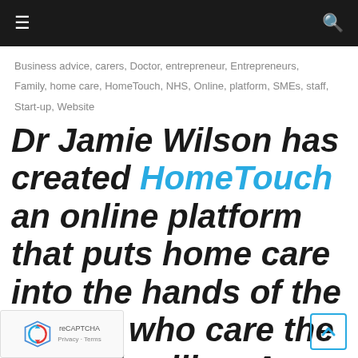☰  [nav bar]  🔍
Business advice, carers, Doctor, entrepreneur, Entrepreneurs, Family, home care, HomeTouch, NHS, Online, platform, SMEs, staff, Start-up, Website
Dr Jamie Wilson has created HomeTouch an online platform that puts home care into the hands of the people who care the most, families. As an